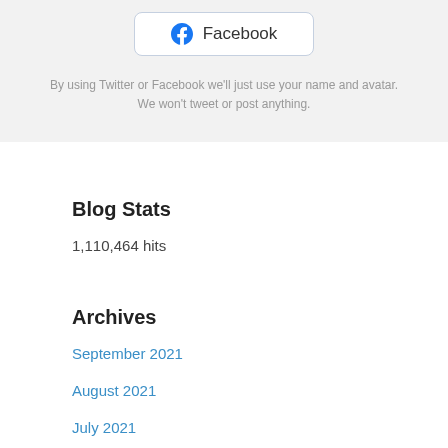[Figure (other): Facebook login button with Facebook logo icon and text 'Facebook']
By using Twitter or Facebook we'll just use your name and avatar. We won't tweet or post anything.
Blog Stats
1,110,464 hits
Archives
September 2021
August 2021
July 2021